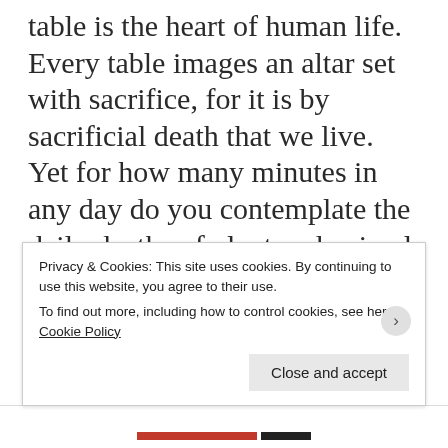table is the heart of human life. Every table images an altar set with sacrifice, for it is by sacrificial death that we live. Yet for how many minutes in any day do you contemplate the daily deaths of plant and animal which sustain the life of your body, the deaths-to-self of your neighbors and family that sustain the life of your spirit—the death of the
Privacy & Cookies: This site uses cookies. By continuing to use this website, you agree to their use. To find out more, including how to control cookies, see here: Cookie Policy
Close and accept